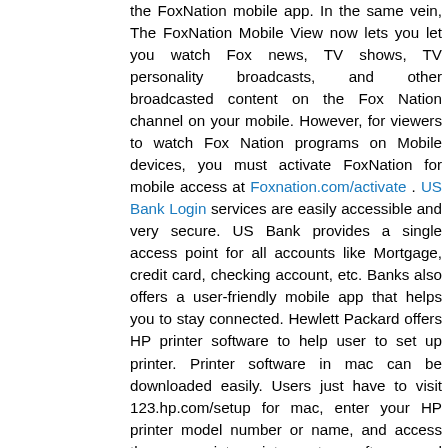the FoxNation mobile app. In the same vein, The FoxNation Mobile View now lets you let you watch Fox news, TV shows, TV personality broadcasts, and other broadcasted content on the Fox Nation channel on your mobile. However, for viewers to watch Fox Nation programs on Mobile devices, you must activate FoxNation for mobile access at Foxnation.com/activate . US Bank Login services are easily accessible and very secure. US Bank provides a single access point for all accounts like Mortgage, credit card, checking account, etc. Banks also offers a user-friendly mobile app that helps you to stay connected. Hewlett Packard offers HP printer software to help user to set up printer. Printer software in mac can be downloaded easily. Users just have to visit 123.hp.com/setup for mac, enter your HP printer model number or name, and access the appropriate printer setup software and driver. 123.hp.com/setup software is available for all popular operating systems and software such as windows, Mac, iOs, and android. Those looking for HP printer setup instructions can visit 123.hp.com/setup. 123 HP printers provide everyone amazing printing quality and popular for adaptability and competence. If you want to connect your HP printer, you need to open hp printer website...